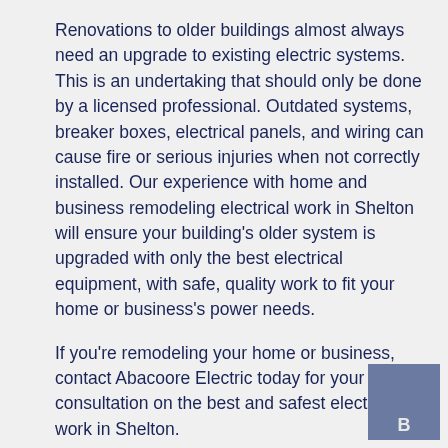Renovations to older buildings almost always need an upgrade to existing electric systems. This is an undertaking that should only be done by a licensed professional. Outdated systems, breaker boxes, electrical panels, and wiring can cause fire or serious injuries when not correctly installed. Our experience with home and business remodeling electrical work in Shelton will ensure your building's older system is upgraded with only the best electrical equipment, with safe, quality work to fit your home or business's power needs.
If you're remodeling your home or business, contact Abacoore Electric today for your consultation on the best and safest electrical work in Shelton.
[Figure (logo): Small square logo box with letter B in bottom center, muted blue-grey color]